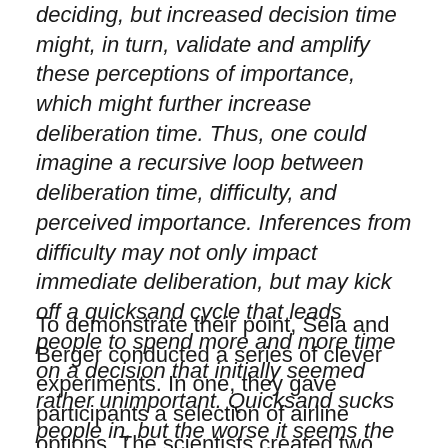deciding, but increased decision time might, in turn, validate and amplify these perceptions of importance, which might further increase deliberation time. Thus, one could imagine a recursive loop between deliberation time, difficulty, and perceived importance. Inferences from difficulty may not only impact immediate deliberation, but may kick off a quicksand cycle that leads people to spend more and more time on a decision that initially seemed rather unimportant. Quicksand sucks people in, but the worse it seems the more people struggle.
To demonstrate their point, Sela and Berger conducted a series of clever experiments. In one, they gave participants a selection of airline options. The scientists created two groups: the participants in the high-difficult condition were given the options in small, low contrast font; in the low-difficult condition, the participants were